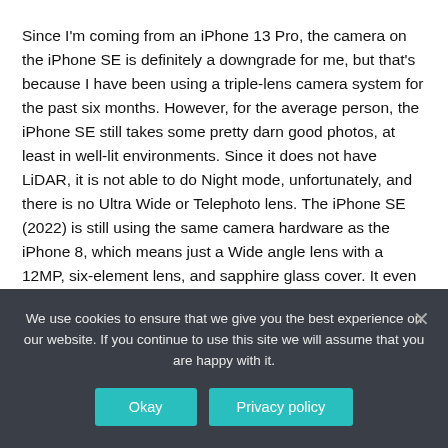Since I'm coming from an iPhone 13 Pro, the camera on the iPhone SE is definitely a downgrade for me, but that's because I have been using a triple-lens camera system for the past six months. However, for the average person, the iPhone SE still takes some pretty darn good photos, at least in well-lit environments. Since it does not have LiDAR, it is not able to do Night mode, unfortunately, and there is no Ultra Wide or Telephoto lens. The iPhone SE (2022) is still using the same camera hardware as the iPhone 8, which means just a Wide angle lens with a 12MP, six-element lens, and sapphire glass cover. It even has the same ƒ/1.8 aperture. All improvements to the camera in the iPhone SE
We use cookies to ensure that we give you the best experience on our website. If you continue to use this site we will assume that you are happy with it.